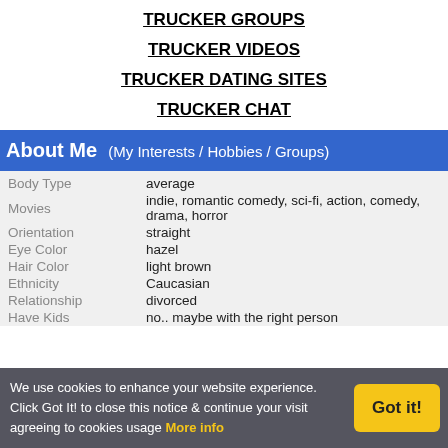TRUCKER GROUPS
TRUCKER VIDEOS
TRUCKER DATING SITES
TRUCKER CHAT
About Me   (My Interests / Hobbies / Groups)
| Field | Value |
| --- | --- |
| Body Type | average |
| Movies | indie, romantic comedy, sci-fi, action, comedy, drama, horror |
| Orientation | straight |
| Eye Color | hazel |
| Hair Color | light brown |
| Ethnicity | Caucasian |
| Relationship | divorced |
| Have Kids | no.. maybe with the right person |
We use cookies to enhance your website experience. Click Got It! to close this notice & continue your visit agreeing to cookies usage More info